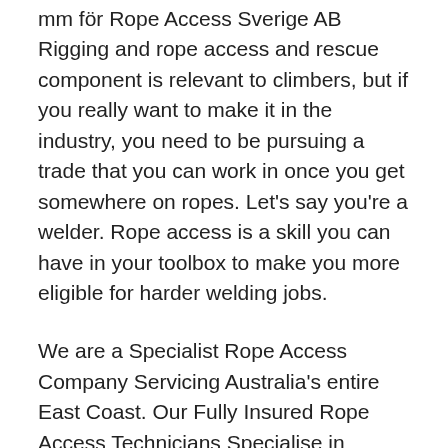mm för Rope Access Sverige AB Rigging and rope access and rescue component is relevant to climbers, but if you really want to make it in the industry, you need to be pursuing a trade that you can work in once you get somewhere on ropes. Let's say you're a welder. Rope access is a skill you can have in your toolbox to make you more eligible for harder welding jobs.
We are a Specialist Rope Access Company Servicing Australia's entire East Coast. Our Fully Insured Rope Access Technicians Specialise in Difficult Jobs. Tasman Rope Access provides a range of working at height technicians across varying sectors in the Australian marketplace. It would take 12 straps (three sets of four) to fully lift a Cimarron or Redcliff, 10 for a Tipi, 3/4" webbing and